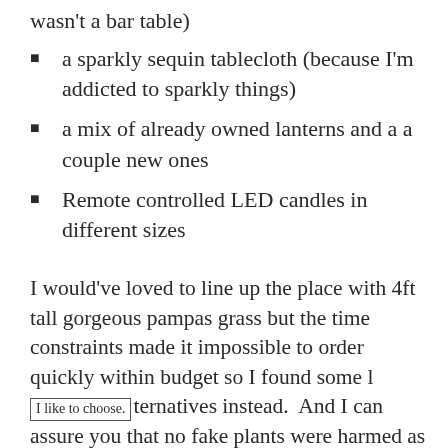wasn't a bar table)
a sparkly sequin tablecloth (because I'm addicted to sparkly things)
a mix of already owned lanterns and a a couple new ones
Remote controlled LED candles in different sizes
I would've loved to line up the place with 4ft tall gorgeous pampas grass but the time constraints made it impossible to order quickly within budget so I found some [I like to choose.] lternatives instead. And I can assure you that no fake plants were harmed as